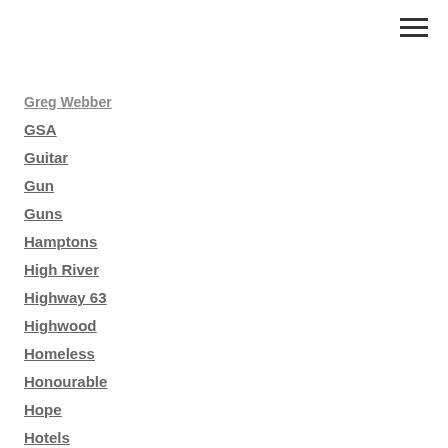Greg Webber
GSA
Guitar
Gun
Guns
Hamptons
High River
Highway 63
Highwood
Homeless
Honourable
Hope
Hotels
Ian Donovan
Jamie Kinghorn
Jazz
Jeff Johnson